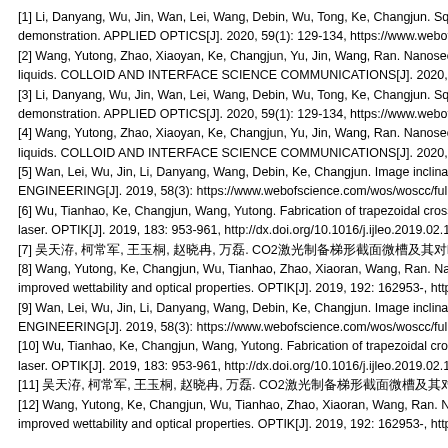[1] Li, Danyang, Wu, Jin, Wan, Lei, Wang, Debin, Wu, Tong, Ke, Changjun. Squirting demonstration. APPLIED OPTICS[J]. 2020, 59(1): 129-134, https://www.webofsc
[2] Wang, Yutong, Zhao, Xiaoyan, Ke, Changjun, Yu, Jin, Wang, Ran. Nanosecond liquids. COLLOID AND INTERFACE SCIENCE COMMUNICATIONS[J]. 2020, 35
[3] Li, Danyang, Wu, Jin, Wan, Lei, Wang, Debin, Wu, Tong, Ke, Changjun. Squirting demonstration. APPLIED OPTICS[J]. 2020, 59(1): 129-134, https://www.webofsc
[4] Wang, Yutong, Zhao, Xiaoyan, Ke, Changjun, Yu, Jin, Wang, Ran. Nanosecond liquids. COLLOID AND INTERFACE SCIENCE COMMUNICATIONS[J]. 2020, 35
[5] Wan, Lei, Wu, Jin, Li, Danyang, Wang, Debin, Ke, Changjun. Image inclination ENGINEERING[J]. 2019, 58(3): https://www.webofscience.com/wos/woscc/full-re
[6] Wu, Tianhao, Ke, Changjun, Wang, Yutong. Fabrication of trapezoidal cross-section laser. OPTIK[J]. 2019, 183: 953-961, http://dx.doi.org/10.1016/j.ijleo.2019.02.147
[7] 吴天浩, 柯常军, 王玉桐, 赵晓冉, 万磊. CO2激光制备梯形截面微槽及其对PMMA润湿性. 中国激光[J]. 2019, 48(3): 88-92, htt
[8] Wang, Yutong, Ke, Changjun, Wu, Tianhao, Zhao, Xiaoran, Wang, Ran. Nano improved wettability and optical properties. OPTIK[J]. 2019, 192: 162953-, http://
[9] Wan, Lei, Wu, Jin, Li, Danyang, Wang, Debin, Ke, Changjun. Image inclination ENGINEERING[J]. 2019, 58(3): https://www.webofscience.com/wos/woscc/full-re
[10] Wu, Tianhao, Ke, Changjun, Wang, Yutong. Fabrication of trapezoidal cross-section laser. OPTIK[J]. 2019, 183: 953-961, http://dx.doi.org/10.1016/j.ijleo.2019.02.147
[11] 吴天浩, 柯常军, 王玉桐, 赵晓冉, 万磊. CO2激光制备梯形截面微槽及其对PMMA润湿性. 中国激光[J]. 2019, 48(3): 88-92, h
[12] Wang, Yutong, Ke, Changjun, Wu, Tianhao, Zhao, Xiaoran, Wang, Ran. Nano improved wettability and optical properties. OPTIK[J]. 2019, 192: 162953-, http://